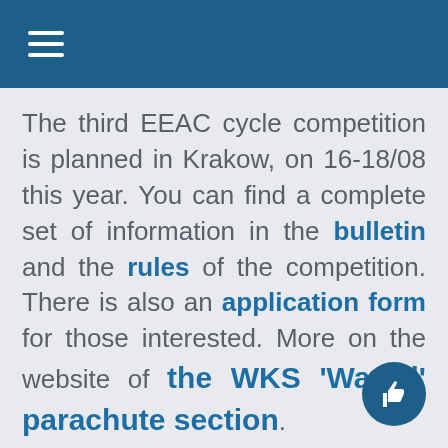≡
The third EEAC cycle competition is planned in Krakow, on 16-18/08 this year. You can find a complete set of information in the bulletin and the rules of the competition. There is also an application form for those interested. More on the website of the WKS 'Wawel' parachute section.